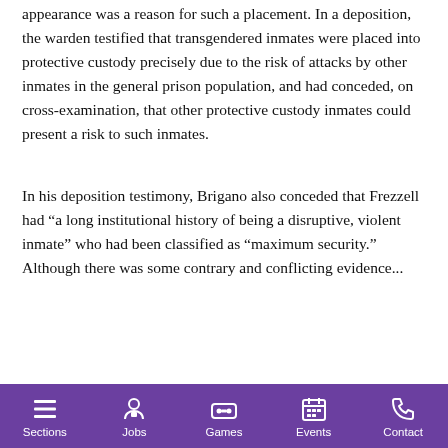appearance was a reason for such a placement. In a deposition, the warden testified that transgendered inmates were placed into protective custody precisely due to the risk of attacks by other inmates in the general prison population, and had conceded, on cross-examination, that other protective custody inmates could present a risk to such inmates.
In his deposition testimony, Brigano also conceded that Frezzell had “a long institutional history of being a disruptive, violent inmate” who had been classified as “maximum security.” Although there was some contrary and conflicting evidence...
Sections | Jobs | Games | Events | Contact